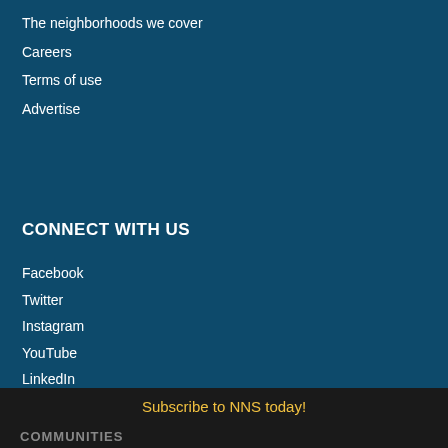The neighborhoods we cover
Careers
Terms of use
Advertise
CONNECT WITH US
Facebook
Twitter
Instagram
YouTube
LinkedIn
RSS feed
Subscribe to NNS today!
COMMUNITIES